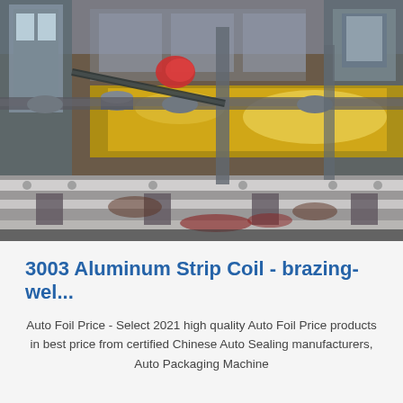[Figure (photo): Industrial factory photograph showing aluminum strip coil rolling/processing machinery. Metal rollers and frames are visible with a shiny golden/bronze aluminum sheet being processed on a conveyor-style machine. The factory floor shows heavy industrial equipment with white painted metal frames.]
3003 Aluminum Strip Coil - brazing-wel...
Auto Foil Price - Select 2021 high quality Auto Foil Price products in best price from certified Chinese Auto Sealing manufacturers, Auto Packaging Machine